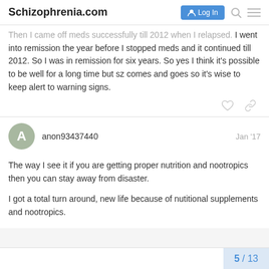Schizophrenia.com
Then I came off meds successfully till 2012 when I relapsed. I went into remission the year before I stopped meds and it continued till 2012. So I was in remission for six years. So yes I think it's possible to be well for a long time but sz comes and goes so it's wise to keep alert to warning signs.
anon93437440  Jan '17
The way I see it if you are getting proper nutrition and nootropics then you can stay away from disaster.
I got a total turn around, new life because of nutitional supplements and nootropics.
5 / 13